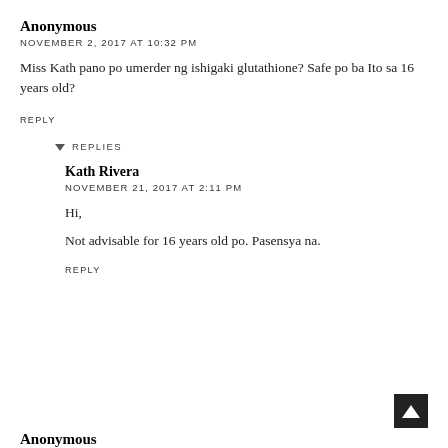Anonymous
NOVEMBER 2, 2017 AT 10:32 PM
Miss Kath pano po umerder ng ishigaki glutathione? Safe po ba Ito sa 16 years old?
REPLY
REPLIES
Kath Rivera
NOVEMBER 21, 2017 AT 2:11 PM
Hi,
Not advisable for 16 years old po. Pasensya na.
REPLY
Anonymous